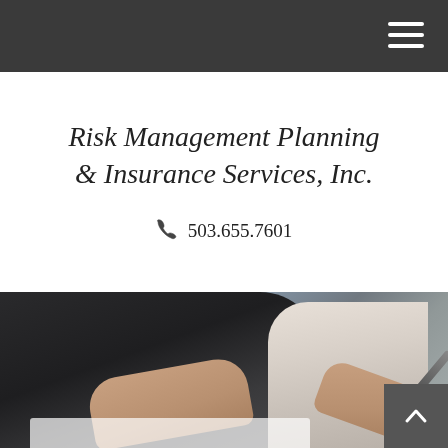Navigation bar with hamburger menu
Risk Management Planning & Insurance Services, Inc.
503.655.7601
[Figure (photo): Person in dark suit jacket writing on paper with a pen, hands visible on desk in foreground]
[Figure (other): Back-to-top button with upward arrow chevron in dark gray]